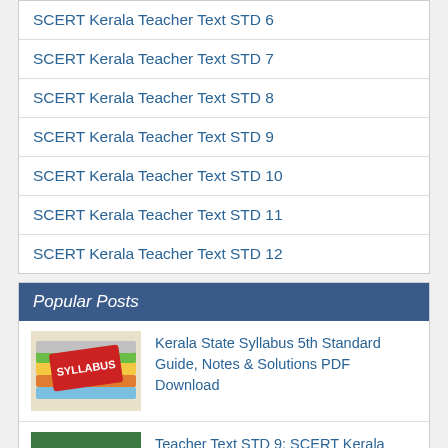SCERT Kerala Teacher Text STD 6
SCERT Kerala Teacher Text STD 7
SCERT Kerala Teacher Text STD 8
SCERT Kerala Teacher Text STD 9
SCERT Kerala Teacher Text STD 10
SCERT Kerala Teacher Text STD 11
SCERT Kerala Teacher Text STD 12
Popular Posts
[Figure (photo): Books with SYLLABUS label on them, colorful stack]
Kerala State Syllabus 5th Standard Guide, Notes & Solutions PDF Download
[Figure (photo): Chalkboard with text THANK YOU TEACHER and smiley face]
Teacher Text STD 9: SCERT Kerala Teachers Hand Book for Class 9